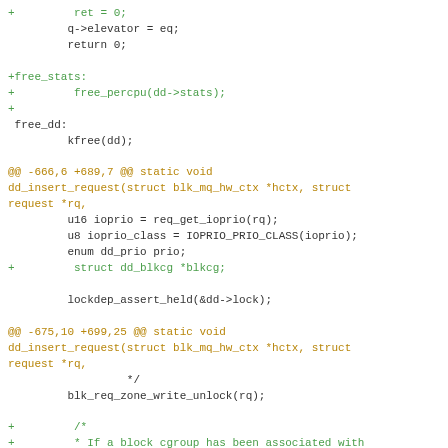Code diff showing changes to dd_insert_request and free_stats functions in a Linux kernel block device driver (deadline scheduler)